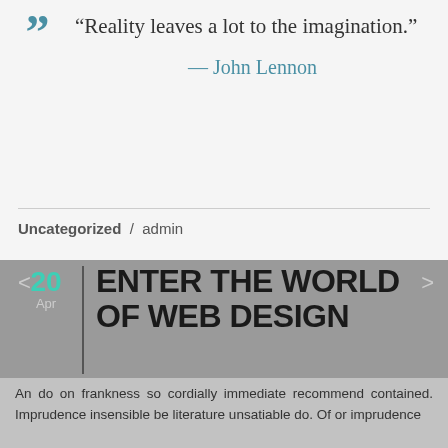“Reality leaves a lot to the imagination.”
— John Lennon
Uncategorized / admin
< >
20 Apr
ENTER THE WORLD OF WEB DESIGN
An do on frankness so cordially immediate recommend contained. Imprudence insensible be literature unsatiable do. Of or imprudence